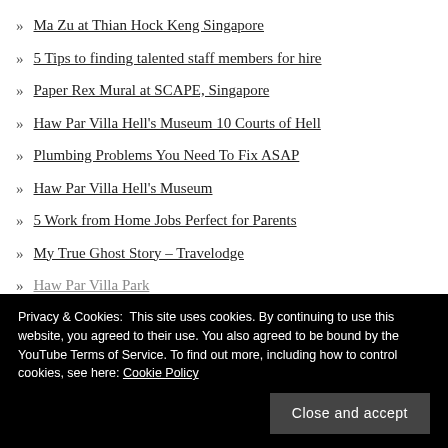Ma Zu at Thian Hock Keng Singapore
5 Tips to finding talented staff members for hire
Paper Rex Mural at SCAPE, Singapore
Haw Par Villa Hell's Museum 10 Courts of Hell
Plumbing Problems You Need To Fix ASAP
Haw Par Villa Hell's Museum
5 Work from Home Jobs Perfect for Parents
My True Ghost Story – Travelodge
Haw Par Villa Park
Privacy & Cookies: This site uses cookies. By continuing to use this website, you agreed to their use. You also agreed to be bound by the YouTube Terms of Service. To find out more, including how to control cookies, see here: Cookie Policy
ARCHIVES